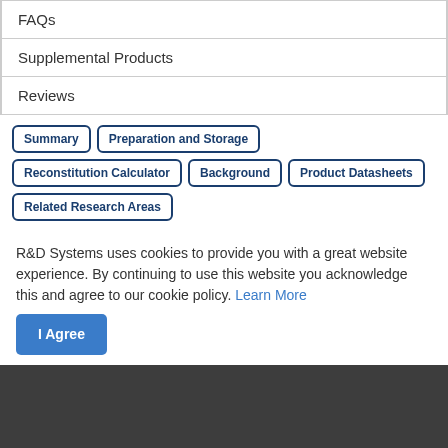| FAQs |
| Supplemental Products |
| Reviews |
Summary | Preparation and Storage | Reconstitution Calculator | Background | Product Datasheets | Related Research Areas
Human Glypican 6 Biotinylated Antibody
R&D Systems uses cookies to provide you with a great website experience. By continuing to use this website you acknowledge this and agree to our cookie policy. Learn More
|  |  |
| --- | --- |
| Species | Human |
| Specificity | Detects human Glypican 6 in direct ELISAs and Western blots. In direct ELISAs and Western blots, no cross-reactivity with recombinant human Glypican 2, 3, or 5 is observed. |